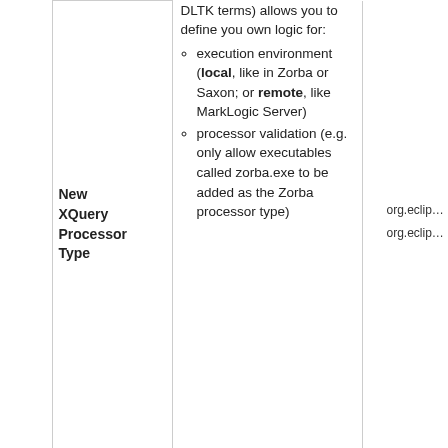|  |  | Description | Extension Points |
| --- | --- | --- | --- |
|  | New XQuery Processor Type | DLTK terms) allows you to define you own logic for:
• execution environment (local, like in Zorba or Saxon; or remote, like MarkLogic Server)
• processor validation (e.g. only allow executables called zorba.exe to be added as the Zorba processor type) | • org.eclipse.wst.xquery.launc
• org.eclipse.wst.xquery.launc |